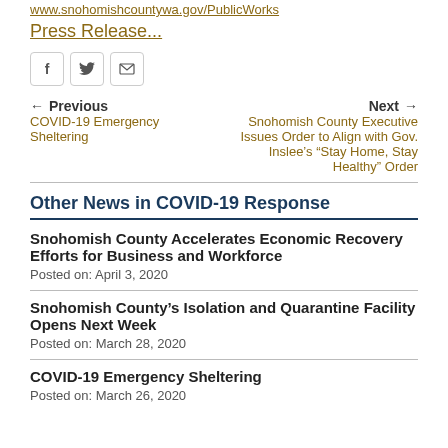www.snohomishcountywa.gov/PublicWorks
Press Release...
[Figure (other): Social share icons: Facebook, Twitter, Email]
Previous
COVID-19 Emergency Sheltering
Next
Snohomish County Executive Issues Order to Align with Gov. Inslee's “Stay Home, Stay Healthy” Order
Other News in COVID-19 Response
Snohomish County Accelerates Economic Recovery Efforts for Business and Workforce
Posted on: April 3, 2020
Snohomish County’s Isolation and Quarantine Facility Opens Next Week
Posted on: March 28, 2020
COVID-19 Emergency Sheltering
Posted on: March 26, 2020